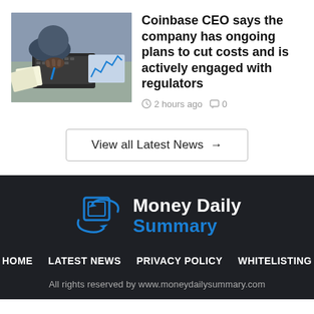[Figure (photo): Person using a laptop/keyboard with financial charts and documents visible on the desk, business finance context]
Coinbase CEO says the company has ongoing plans to cut costs and is actively engaged with regulators
2 hours ago  0
View all Latest News →
[Figure (logo): Money Daily Summary logo — blue swirl/coin icon with text 'Money Daily' in white and 'Summary' in blue]
HOME   LATEST NEWS   PRIVACY POLICY   WHITELISTING
All rights reserved by www.moneydailysummary.com